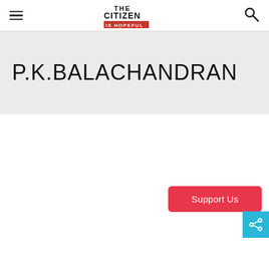The Citizen IS HOPEFUL
P.K.BALACHANDRAN
Support Us
[Figure (other): Share icon button (cyan background with share symbol)]